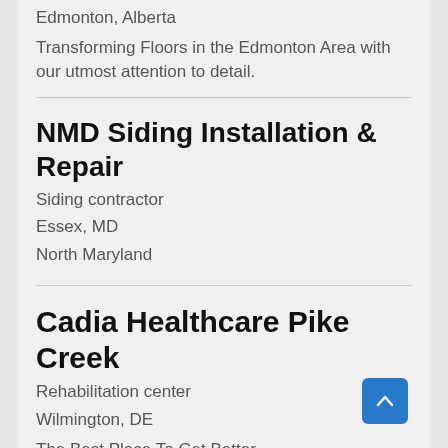Edmonton, Alberta
Transforming Floors in the Edmonton Area with our utmost attention to detail.
NMD Siding Installation & Repair
Siding contractor
Essex, MD
North Maryland
Cadia Healthcare Pike Creek
Rehabilitation center
Wilmington, DE
The Best Place To Get Better